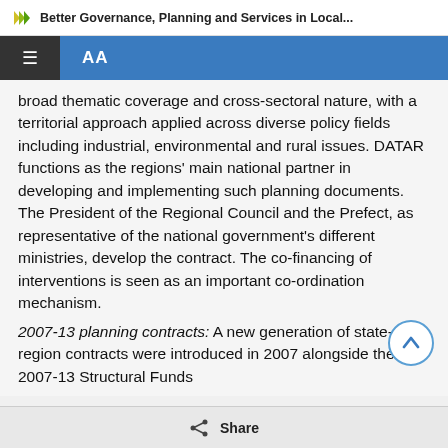Better Governance, Planning and Services in Local...
broad thematic coverage and cross-sectoral nature, with a territorial approach applied across diverse policy fields including industrial, environmental and rural issues. DATAR functions as the regions' main national partner in developing and implementing such planning documents. The President of the Regional Council and the Prefect, as representative of the national government's different ministries, develop the contract. The co-financing of interventions is seen as an important co-ordination mechanism.
2007-13 planning contracts: A new generation of state-region contracts were introduced in 2007 alongside the 2007-13 Structural Funds
Share